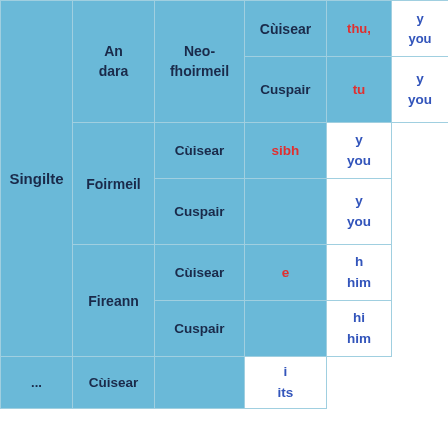|  | An dara | Neo-fhoirmeil / Foirmeil / Fireann / ... | Cùisear / Cuspair | Pronoun (Scottish Gaelic) | English |
| --- | --- | --- | --- | --- | --- |
| Singilte | An dara | Neo-fhoirmeil | Cùisear | thu, | yo... / you |
|  |  |  | Cuspair | tu | yo... / you |
|  |  | Foirmeil | Cùisear | sibh | yo... / you |
|  |  |  | Cuspair |  | yo... / you |
|  |  | Fireann | Cùisear | e | h... / him |
|  |  |  | Cuspair |  | hi... / him |
|  |  | ... | Cùisear |  | i... / its |